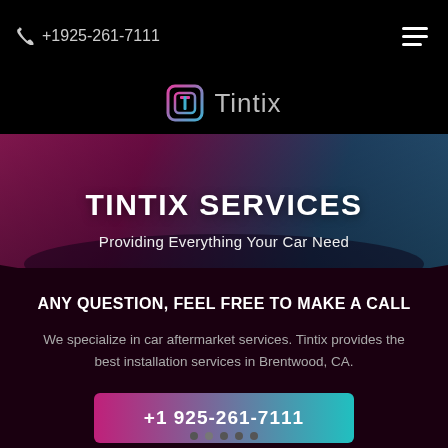+1925-261-7111
[Figure (logo): Tintix logo — stylized T icon in pink/blue gradient with gray 'Tintix' wordmark]
TINTIX SERVICES
Providing Everything Your Car Need
ANY QUESTION, FEEL FREE TO MAKE A CALL
We specialize in car aftermarket services. Tintix provides the best installation services in Brentwood, CA.
+1 925-261-7111